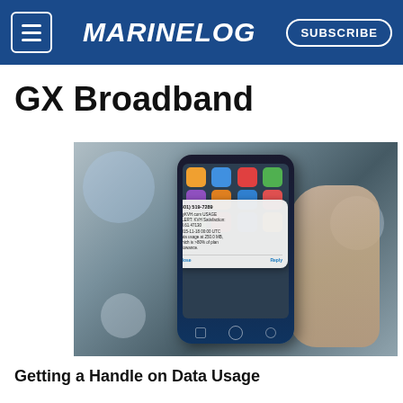MARINELOG
GX Broadband
[Figure (photo): A hand holding a smartphone displaying a notification popup from myKVH.com with a KVH Satisfaction Alert about data usage at 250.0 MB which is >80% of plan allowance, showing phone number (401) 519-7289 and Close/Reply buttons.]
Getting a Handle on Data Usage